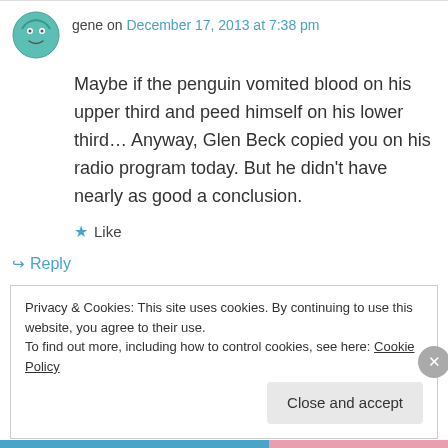[Figure (illustration): Avatar/profile icon: round blue-green circle with a simple cartoon face]
gene on December 17, 2013 at 7:38 pm
Maybe if the penguin vomited blood on his upper third and peed himself on his lower third… Anyway, Glen Beck copied you on his radio program today. But he didn't have nearly as good a conclusion.
★ Like
↳ Reply
Privacy & Cookies: This site uses cookies. By continuing to use this website, you agree to their use.
To find out more, including how to control cookies, see here: Cookie Policy
Close and accept